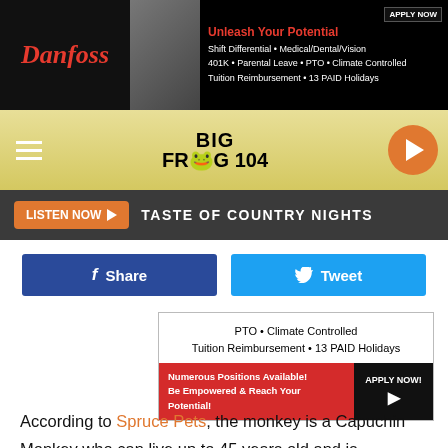[Figure (screenshot): Danfoss advertisement banner - top: black background with Danfoss red italic logo, people photo, red headline 'Unleash Your Potential', white text listing benefits: Shift Differential, Medical/Dental/Vision, 401K, Parental Leave, PTO, Climate Controlled, Tuition Reimbursement, 13 PAID Holidays, with APPLY NOW button]
[Figure (screenshot): Big Frog 104 radio station navigation bar with yellow/gold gradient background, hamburger menu icon, Big Frog 104 logo with frog graphic, and orange circular play button]
[Figure (screenshot): Dark gray bar with orange LISTEN NOW button with play arrow and white text: TASTE OF COUNTRY NIGHTS]
[Figure (screenshot): Social sharing buttons row: dark blue Facebook Share button and light blue Twitter Tweet button]
[Figure (screenshot): Danfoss advertisement: white box with text 'PTO • Climate Controlled Tuition Reimbursement • 13 PAID Holidays', red section 'Numerous Positions Available! Be Empowered & Reach Your Potential!', black section 'APPLY NOW!' with cursor icon]
According to Spruce Pets, the monkey is a Capuchin Monkey who can live up to 45 years old and is considered the smartest New World monkey.
[Figure (screenshot): Danfoss advertisement banner - bottom: same as top banner with black background, Danfoss red logo, people photo, Unleash Your Potential headline, benefit text, APPLY NOW button]